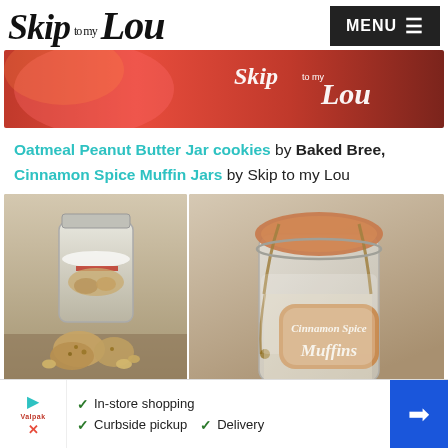Skip to my Lou — MENU
[Figure (photo): Red banner image with 'Skip to my Lou' logo text overlay on right side]
Oatmeal Peanut Butter Jar cookies by Baked Bree, Cinnamon Spice Muffin Jars by Skip to my Lou
[Figure (photo): Two side-by-side photos: left shows oatmeal peanut butter cookies in a mason jar with red ribbon and doily, right shows a mason jar labeled 'Cinnamon Spice Muffins' with twine and decorative fabric top]
[Figure (photo): Advertisement bar at bottom: in-store shopping, curbside pickup, delivery options with store logo and arrow icon]